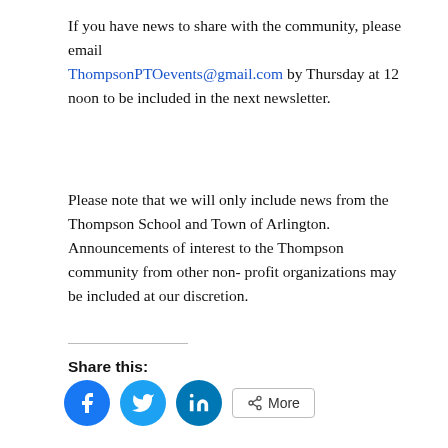If you have news to share with the community, please email ThompsonPTOevents@gmail.com by Thursday at 12 noon to be included in the next newsletter.
Please note that we will only include news from the Thompson School and Town of Arlington. Announcements of interest to the Thompson community from other non-profit organizations may be included at our discretion.
Share this: